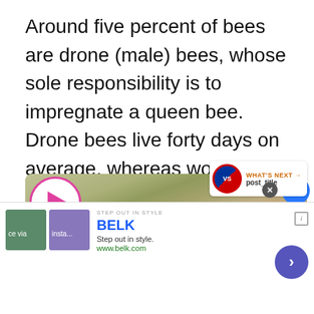Around five percent of bees are drone (male) bees, whose sole responsibility is to impregnate a queen bee. Drone bees live forty days on average, whereas worker bees live up to four months.
[Figure (photo): A beekeeper in white gloves using a tool to inspect a wooden hive frame covered with bees, with a play button overlay and social action buttons (heart, share). A 'What's Next' widget shows a VS logo and 'post_title'.]
[Figure (screenshot): An advertisement for BELK department store. Shows 'STEP OUT IN STYLE', 'BELK' in blue, 'Step out in style.' tagline, 'www.belk.com' URL, two thumbnail images, and a blue arrow navigation button.]